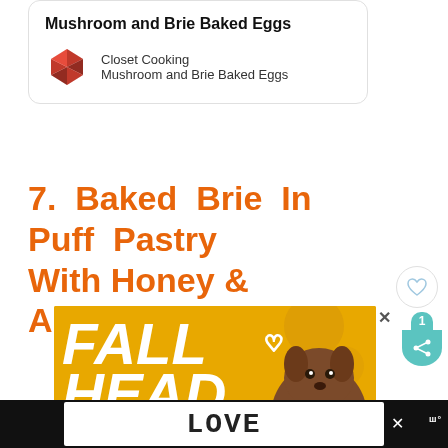Mushroom and Brie Baked Eggs
Closet Cooking
Mushroom and Brie Baked Eggs
7. Baked Brie In Puff Pastry With Honey & Almonds
[Figure (photo): Advertisement banner showing a dog with FALL HEAD OVER text on yellow background]
[Figure (infographic): What's Next section: Try These 11 Zucchini Sal...]
[Figure (advertisement): Bottom advertisement with LOVE text in decorative font]